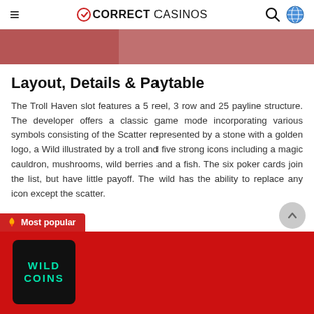CORRECT CASINOS
[Figure (other): Red/pink decorative banner strip at top of content area]
Layout, Details & Paytable
The Troll Haven slot features a 5 reel, 3 row and 25 payline structure. The developer offers a classic game mode incorporating various symbols consisting of the Scatter represented by a stone with a golden logo, a Wild illustrated by a troll and five strong icons including a magic cauldron, mushrooms, wild berries and a fish. The six poker cards join the list, but have little payoff. The wild has the ability to replace any icon except the scatter.
[Figure (logo): Wild Coins casino logo — black card with teal WILD COINS text on red background. Most popular label shown above.]